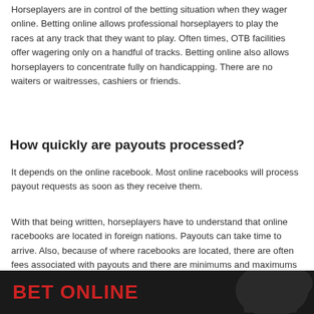Horseplayers are in control of the betting situation when they wager online. Betting online allows professional horseplayers to play the races at any track that they want to play. Often times, OTB facilities offer wagering only on a handful of tracks. Betting online also allows horseplayers to concentrate fully on handicapping. There are no waiters or waitresses, cashiers or friends.
How quickly are payouts processed?
It depends on the online racebook. Most online racebooks will process payout requests as soon as they receive them.
With that being written, horseplayers have to understand that online racebooks are located in foreign nations. Payouts can take time to arrive. Also, because of where racebooks are located, there are often fees associated with payouts and there are minimums and maximums that a horseplayer can deposit or withdrawal. The best online racebooks have multiple payout options. One of those payout options often times is free and reputable online racebooks are always honest about any fees that are associated with payouts.
[Figure (other): Dark footer banner with red bold text reading 'BET ONLINE' and a dark horse silhouette graphic on the right side]